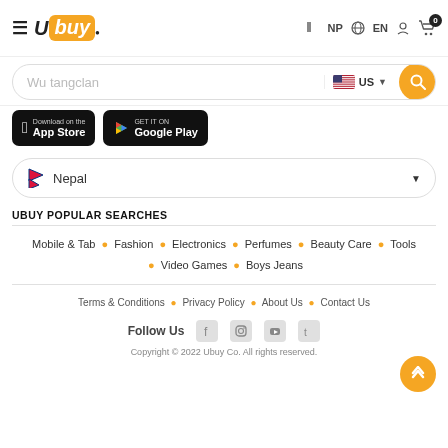[Figure (screenshot): Ubuy e-commerce website header with logo, navigation icons (NP flag, EN language, user, cart with 0 badge), search bar with 'Wu tangclan' query, US flag dropdown, and search button]
[Figure (screenshot): App Store and Google Play download buttons]
[Figure (screenshot): Country selector dropdown showing Nepal flag and 'Nepal' text]
UBUY POPULAR SEARCHES
Mobile & Tab • Fashion • Electronics • Perfumes • Beauty Care • Tools • Video Games • Boys Jeans
Terms & Conditions • Privacy Policy • About Us • Contact Us
Follow Us
Copyright © 2022 Ubuy Co. All rights reserved.